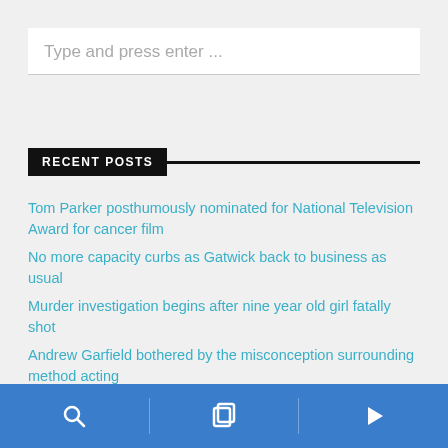Type and press enter ...
RECENT POSTS
Tom Parker posthumously nominated for National Television Award for cancer film
No more capacity curbs as Gatwick back to business as usual
Murder investigation begins after nine year old girl fatally shot
Andrew Garfield bothered by the misconception surrounding method acting
Dame Judi Dench enlists The Repair Shop to mend late husbands pocketwatch
Navigation bar with search, pages, and play icons